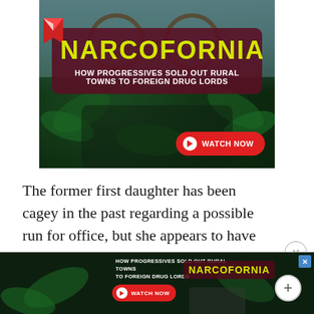[Figure (photo): Advertisement for 'Narcofornia' documentary. Dark background with cannabis leaves and a person wearing glasses. Large yellow text reads NARCOFORNIA on dark red card. Subtitle: HOW PROGRESSIVES SOLD OUT RURAL TOWNS TO FOREIGN DRUG LORDS. Red WATCH NOW button with play icon.]
The former first daughter has been cagey in the past regarding a possible run for office, but she appears to have evolved on the subject.
[Figure (screenshot): Second Narcofornia advertisement banner at bottom of page, smaller. Shows HOW PROGRESSIVES SOLD OUT RURAL TOWNS TO FOREIGN DRUG LORDS, WATCH NOW button, Narcofornia logo in yellow, and a plus button on right side.]